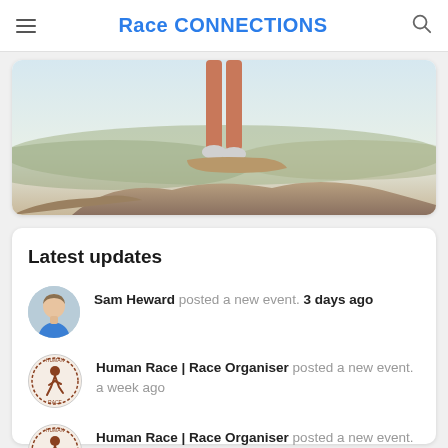Race CONNECTIONS
[Figure (photo): Person standing on a rocky outcrop overlooking a wide landscape, viewed from behind at leg level]
Latest updates
Sam Heward posted a new event. 3 days ago
Human Race | Race Organiser posted a new event. a week ago
Human Race | Race Organiser posted a new event. 4 weeks ago